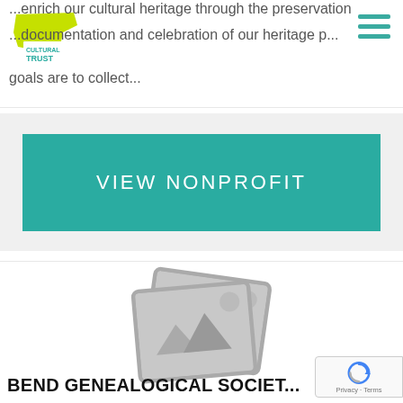Oregon Cultural Trust - Cultural Heritage through preservation and celebration of our heritage. Goals are to collect...
...enrich our cultural heritage through the preservation, documentation and celebration of our heritage p... goals are to collect...
VIEW NONPROFIT
[Figure (illustration): Placeholder image icon showing two overlapping photo frames with a mountain and sun graphic, rendered in gray.]
BEND GENEALOGICAL SOCIET...